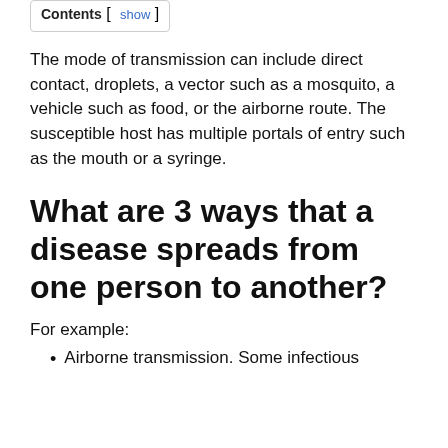Contents [ show ]
The mode of transmission can include direct contact, droplets, a vector such as a mosquito, a vehicle such as food, or the airborne route. The susceptible host has multiple portals of entry such as the mouth or a syringe.
What are 3 ways that a disease spreads from one person to another?
For example:
Airborne transmission. Some infectious